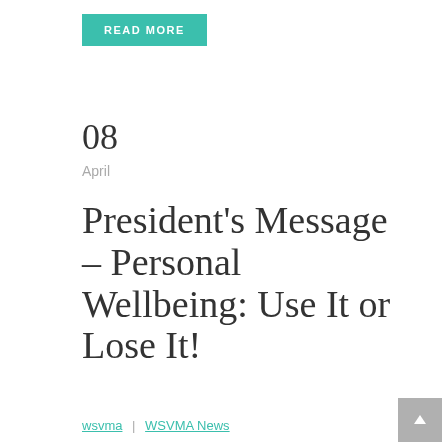[Figure (other): READ MORE button — teal/green rectangular button with white uppercase text]
08
April
President's Message – Personal Wellbeing: Use It or Lose It!
wsvma | WSVMA News